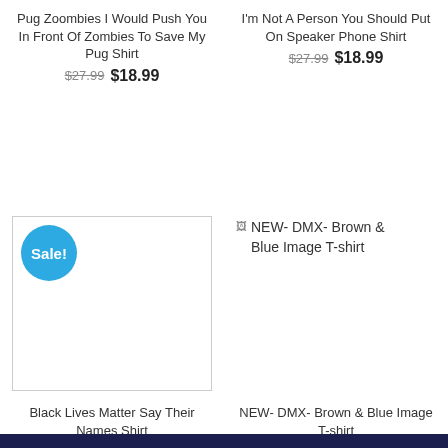Pug Zoombies I Would Push You In Front Of Zombies To Save My Pug Shirt
$27.99  $18.99
I'm Not A Person You Should Put On Speaker Phone Shirt
$27.99  $18.99
[Figure (photo): Product image placeholder with Sale! badge (blue circle) on left side. Rectangle border visible with mostly blank white interior.]
[Figure (photo): Broken image icon with label: NEW- DMX- Brown & Blue Image T-shirt]
Black Lives Matter Say Their Names Shirt
$27.99  $18.99
NEW- DMX- Brown & Blue Image T-shirt
$18.99